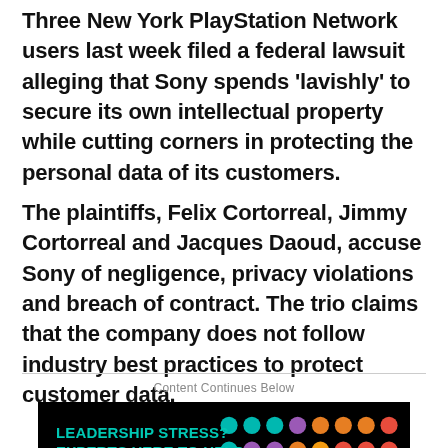Three New York PlayStation Network users last week filed a federal lawsuit alleging that Sony spends ‘lavishly’ to secure its own intellectual property while cutting corners in protecting the personal data of its customers.
The plaintiffs, Felix Cortorreal, Jimmy Cortorreal and Jacques Daoud, accuse Sony of negligence, privacy violations and breach of contract. The trio claims that the company does not follow industry best practices to protect customer data.
Content Continues Below
[Figure (advertisement): Black background advertisement with colorful polka dots pattern. Text reads: LEADERSHIP STRESS? EXPERTS HERE TO HELP. CIO's Future of]